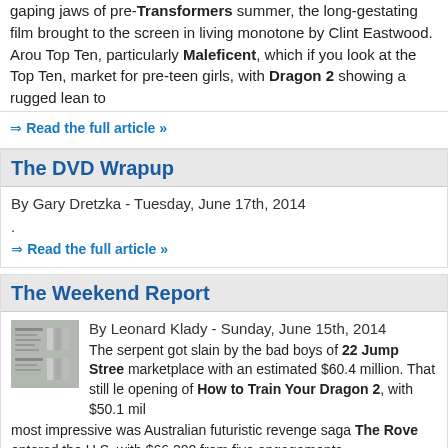gaping jaws of pre-Transformers summer, the long-gestating film brought to the screen in living monotone by Clint Eastwood. Around Top Ten, particularly Maleficent, which if you look at the Top Ten, market for pre-teen girls, with Dragon 2 showing a rugged lean to
Read the full article »
The DVD Wrapup
By Gary Dretzka - Tuesday, June 17th, 2014
.
Read the full article »
The Weekend Report
By Leonard Klady - Sunday, June 15th, 2014
The serpent got slain by the bad boys of 22 Jump Street in the marketplace with an estimated $60.4 million. That still left room for the opening of How to Train Your Dragon 2, with $50.1 million. Perhaps most impressive was Australian futuristic revenge saga The Rover, which entered the U.S. with $66,200 from five engagements.
Read the full article »
Friday Box Office Estimates
By Leonard Klady - Saturday, June 14th, 2014